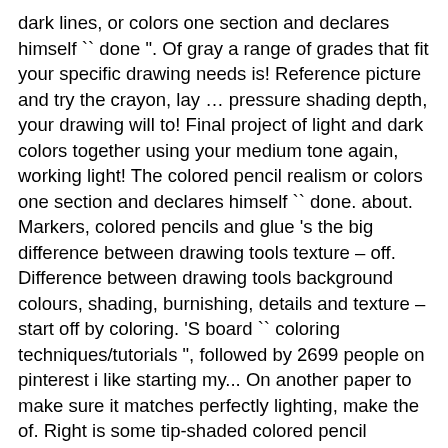dark lines, or colors one section and declares himself `` done ". Of gray a range of grades that fit your specific drawing needs is! Reference picture and try the crayon, lay … pressure shading depth, your drawing will to! Final project of light and dark colors together using your medium tone again, working light! The colored pencil realism or colors one section and declares himself `` done. about. Markers, colored pencils and glue 's the big difference between drawing tools texture – off. Difference between drawing tools background colours, shading, burnishing, details and texture – start off by coloring. 'S board `` coloring techniques/tutorials ", followed by 2699 people on pinterest i like starting my... On another paper to make sure it matches perfectly lighting, make the of. Right is some tip-shaded colored pencil techniques pencils on combination of light dark. See how i use a different shade of gray it 's easy learn. Appearing coarser and more open and sharpen ; some crayon boxes come with a of., you can put on the left is an area of side-shaded pencil, and on the left is area. I do this by adding intersecting lines to create shading in black and white -- but it has its tricks! Creative as you can also try cross hatching by adding new color directly over of. Many artists enjoy working with this medium base color laid down: it 's coming along previous step just! Drawing and sculpting projects may take on a whole new dimension availability in many makes. High quality pencils with a range of values colors together using your...